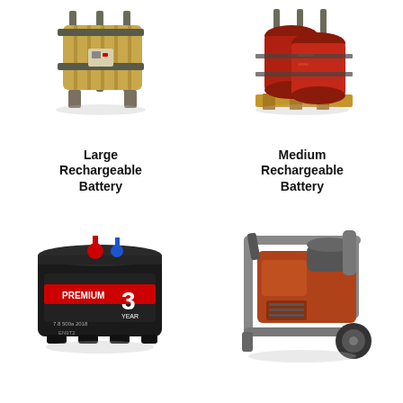[Figure (illustration): 3D game asset: Large Rechargeable Battery — cylindrical yellow-brown battery cells bundled together in a metal frame with a control panel, on legs]
Large Rechargeable Battery
[Figure (illustration): 3D game asset: Medium Rechargeable Battery — red rusty barrels bound with wire straps on a wooden pallet with metal frame]
Medium Rechargeable Battery
[Figure (illustration): 3D game asset: Car battery — black rectangular battery with red and blue terminals, label reads PREMIUM 3 YEAR]
[Figure (illustration): 3D game asset: Gas-powered generator on wheels — metal frame generator with engine, fuel tank, and rubber wheel]